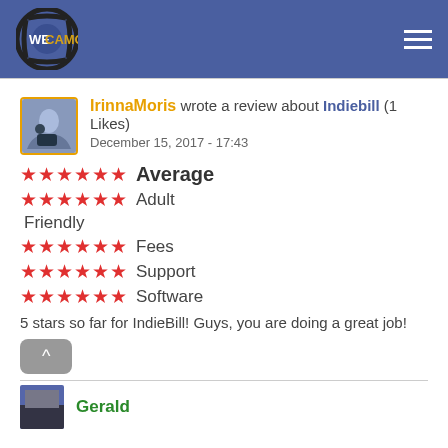WECAMGIRLS
IrinnaMoris wrote a review about Indiebill (1 Likes)
December 15, 2017 - 17:43
★★★★★★ Average
★★★★★★ Adult Friendly
★★★★★★ Fees
★★★★★★ Support
★★★★★★ Software
5 stars so far for IndieBill! Guys, you are doing a great job!
Gerald